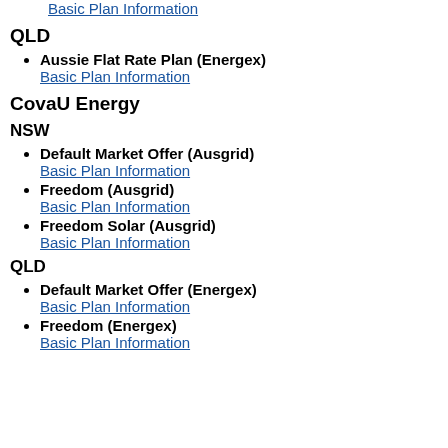Basic Plan Information
QLD
Aussie Flat Rate Plan (Energex)
Basic Plan Information
CovaU Energy
NSW
Default Market Offer (Ausgrid)
Basic Plan Information
Freedom (Ausgrid)
Basic Plan Information
Freedom Solar (Ausgrid)
Basic Plan Information
QLD
Default Market Offer (Energex)
Basic Plan Information
Freedom (Energex)
Basic Plan Information